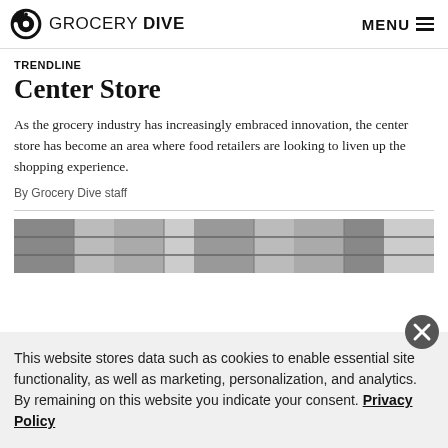GROCERY DIVE  MENU
TRENDLINE
Center Store
As the grocery industry has increasingly embraced innovation, the center store has become an area where food retailers are looking to liven up the shopping experience.
By Grocery Dive staff
[Figure (photo): Black and white photo of grocery store shelves/center store aisle]
This website stores data such as cookies to enable essential site functionality, as well as marketing, personalization, and analytics. By remaining on this website you indicate your consent. Privacy Policy